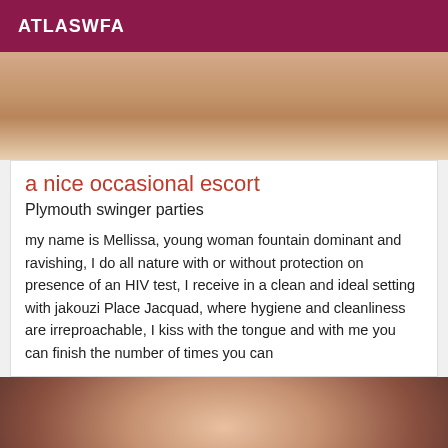ATLASWFA
[Figure (photo): Close-up photo of skin/body, warm tones, partial view]
a nice occasional escort
Plymouth swinger parties
my name is Mellissa, young woman fountain dominant and ravishing, I do all nature with or without protection on presence of an HIV test, I receive in a clean and ideal setting with jakouzi Place Jacquad, where hygiene and cleanliness are irreproachable, I kiss with the tongue and with me you can finish the number of times you can
[Figure (photo): Photo of a dark-haired woman, partial view from shoulders up]